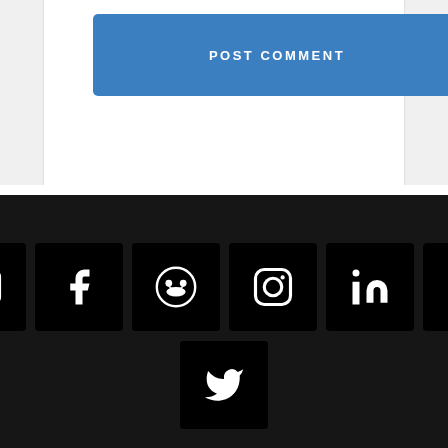POST COMMENT
[Figure (infographic): Row of 6 social media icon buttons (email, Facebook, GitHub, Instagram, LinkedIn, Medium) and one Twitter icon button below center, all white icons on black square backgrounds in a dark footer section.]